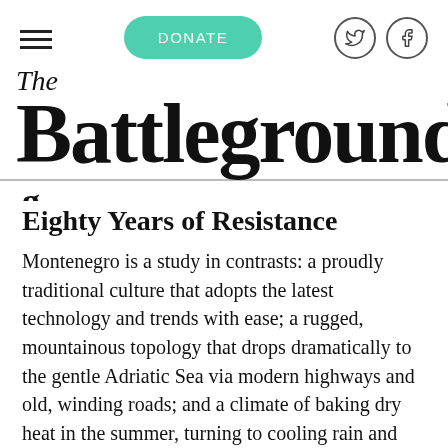The Battleground
Eighty Years of Resistance
Montenegro is a study in contrasts: a proudly traditional culture that adopts the latest technology and trends with ease; a rugged, mountainous topology that drops dramatically to the gentle Adriatic Sea via modern highways and old, winding roads; and a climate of baking dry heat in the summer, turning to cooling rain and snow-topped peaks in the winter (...)